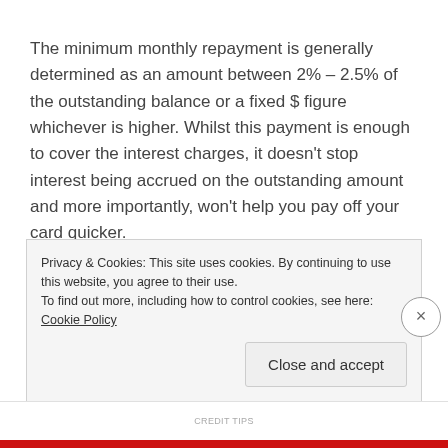The minimum monthly repayment is generally determined as an amount between 2% – 2.5% of the outstanding balance or a fixed $ figure whichever is higher. Whilst this payment is enough to cover the interest charges, it doesn't stop interest being accrued on the outstanding amount and more importantly, won't help you pay off your card quicker.
Example;
Privacy & Cookies: This site uses cookies. By continuing to use this website, you agree to their use.
To find out more, including how to control cookies, see here: Cookie Policy